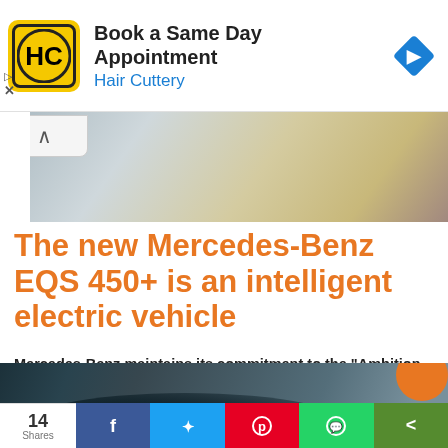[Figure (screenshot): Advertisement banner for Hair Cuttery: 'Book a Same Day Appointment' with HC logo and navigation arrow icon]
[Figure (photo): Partial view of a silver/beige car exterior from above, likely Mercedes-Benz EQS]
The new Mercedes-Benz EQS 450+ is an intelligent electric vehicle
Mercedes-Benz maintains its commitment to the "Ambition 2039" program,...
[Figure (photo): Mercedes-Benz EQS 450+ silver electric sedan in motion]
14 Shares